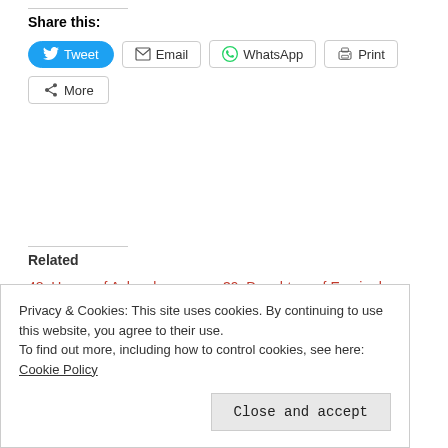Share this:
[Figure (infographic): Social sharing buttons: Tweet (blue Twitter button), Email, WhatsApp, Print, and More]
Related
48. House of Ashes by Monique Roffey
October 18, 2014
In "Reviews 2014"
39. Daughters of Empire by Lakshmi Persaud
November 6, 2012
In "Reviews 2012"
Privacy & Cookies: This site uses cookies. By continuing to use this website, you agree to their use.
To find out more, including how to control cookies, see here: Cookie Policy